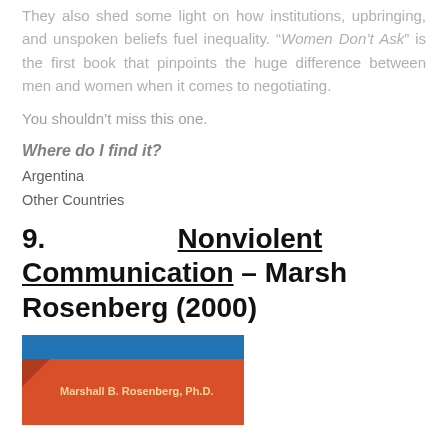They also shed some light on how institutions, upbringing, and unspoken beliefs fuel inequality. "Women Don't Ask" is the first book that pinpoints the huge difference between men and women when it comes to negotiating.
You shouldn't miss this one.
Where do I find it?
Argentina
Other Countries
9. Nonviolent Communication – Marsh Rosenberg (2000)
[Figure (photo): Book cover of Nonviolent Communication by Marshall B. Rosenberg, Ph.D. Shows a blue top band and orange/red lower section with the author's name.]